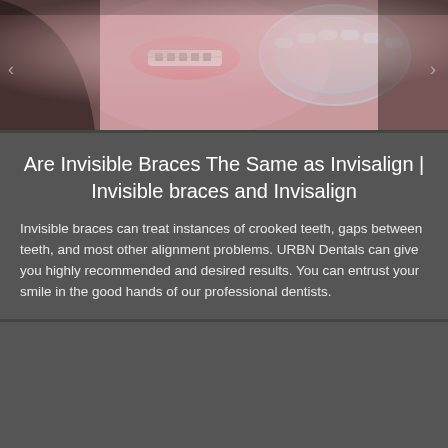[Figure (photo): Close-up photo of a smiling woman with braces on teeth, holding a clear invisible aligner/Invisalign retainer, brunette hair, pink lips]
Are Invisible Braces The Same as Invisalign | Invisible braces and Invisalign
Invisible braces can treat instances of crooked teeth, gaps between teeth, and most other alignment problems. URBN Dentals can give you highly recommended and desired results. You can entrust your smile in the good hands of our professional dentists.